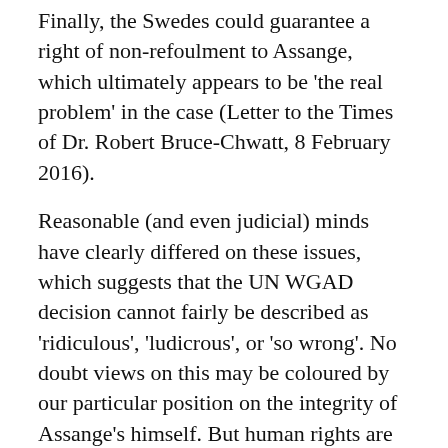Finally, the Swedes could guarantee a right of non-refoulment to Assange, which ultimately appears to be 'the real problem' in the case (Letter to the Times of Dr. Robert Bruce-Chwatt, 8 February 2016).
Reasonable (and even judicial) minds have clearly differed on these issues, which suggests that the UN WGAD decision cannot fairly be described as 'ridiculous', 'ludicrous', or 'so wrong'. No doubt views on this may be coloured by our particular position on the integrity of Assange's himself. But human rights are not meant to favour the popular amongst us; they are meant to favour us all.
Liora Lazarus is a Fellow of St. Anne's College and an Associate Professor in Law at Oxford University.
(Suggested citation: L. Lazarus, 'Is the United